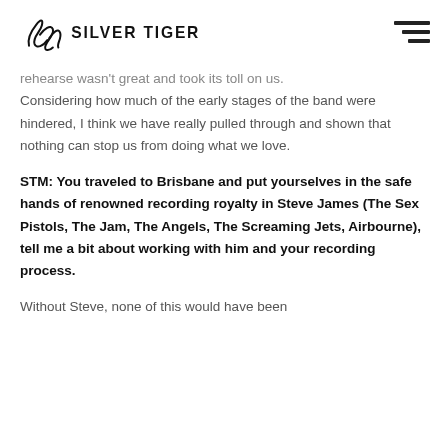Silver Tiger Media
rehearse wasn't great and took its toll on us. Considering how much of the early stages of the band were hindered, I think we have really pulled through and shown that nothing can stop us from doing what we love.
STM: You traveled to Brisbane and put yourselves in the safe hands of renowned recording royalty in Steve James (The Sex Pistols, The Jam, The Angels, The Screaming Jets, Airbourne), tell me a bit about working with him and your recording process.
Without Steve, none of this would have been